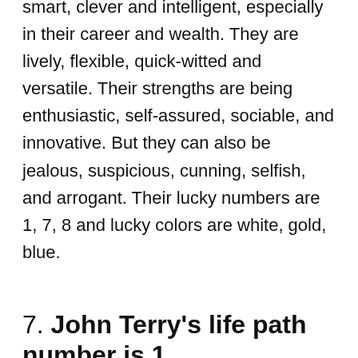smart, clever and intelligent, especially in their career and wealth. They are lively, flexible, quick-witted and versatile. Their strengths are being enthusiastic, self-assured, sociable, and innovative. But they can also be jealous, suspicious, cunning, selfish, and arrogant. Their lucky numbers are 1, 7, 8 and lucky colors are white, gold, blue.
7. John Terry's life path number is 1
Life Path number 1 represents 'The Leader'. Those who walk a Life Path with Number 1 have an inner zeal that pushes them to constantly climb towards goals others think unreachable. Number 1 gives birth to all other numbers. Its energy is that of the Master Creator. The values are individuality, independence...